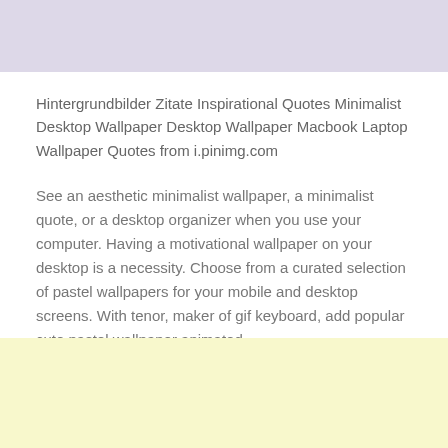[Figure (other): Lavender/purple-tinted banner image at the top of the page]
Hintergrundbilder Zitate Inspirational Quotes Minimalist Desktop Wallpaper Desktop Wallpaper Macbook Laptop Wallpaper Quotes from i.pinimg.com
See an aesthetic minimalist wallpaper, a minimalist quote, or a desktop organizer when you use your computer. Having a motivational wallpaper on your desktop is a necessity. Choose from a curated selection of pastel wallpapers for your mobile and desktop screens. With tenor, maker of gif keyboard, add popular cute pastel wallpaper animated.
[Figure (other): Light yellow/cream banner image at the bottom of the page]